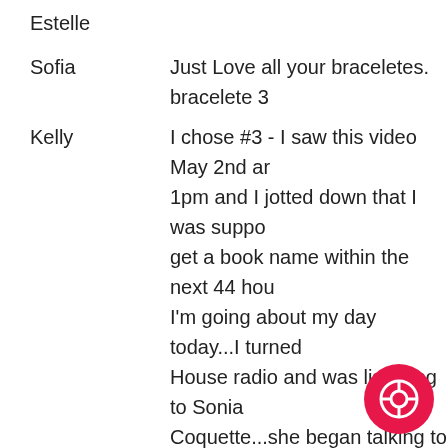Estelle
Sofia

Just Love all your braceletes.
bracelete 3
Kelly

I chose #3 - I saw this video May 2nd ar... 1pm and I jotted down that I was suppo... get a book name within the next 44 hou... I'm going about my day today...I turned... House radio and was listening to Sonia Coquette...she began talking to a caller... said "I really want you to have this book Psychic Pathway" and I stopped and tho... need to jot that down...then I saw the n... self from yesterday and I'm thinking - t... Holy cow - incredible!!
Kim

No...